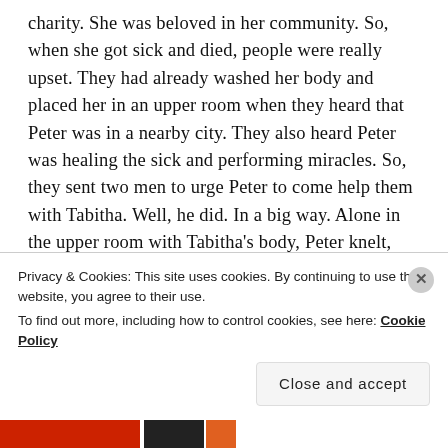charity. She was beloved in her community. So, when she got sick and died, people were really upset. They had already washed her body and placed her in an upper room when they heard that Peter was in a nearby city. They also heard Peter was healing the sick and performing miracles. So, they sent two men to urge Peter to come help them with Tabitha. Well, he did. In a big way. Alone in the upper room with Tabitha's body, Peter knelt, prayed, and told her to arise. She did! She opened her eyes, sat up, took Peter's hand, and then she rose and was presented, reintroduced as it were, to her friends and community. This story speaks to me on
Privacy & Cookies: This site uses cookies. By continuing to use this website, you agree to their use.
To find out more, including how to control cookies, see here: Cookie Policy
Close and accept